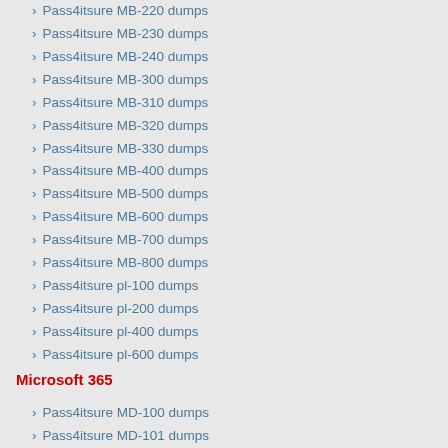› Pass4itsure MB-220 dumps
› Pass4itsure MB-230 dumps
› Pass4itsure MB-240 dumps
› Pass4itsure MB-300 dumps
› Pass4itsure MB-310 dumps
› Pass4itsure MB-320 dumps
› Pass4itsure MB-330 dumps
› Pass4itsure MB-400 dumps
› Pass4itsure MB-500 dumps
› Pass4itsure MB-600 dumps
› Pass4itsure MB-700 dumps
› Pass4itsure MB-800 dumps
› Pass4itsure pl-100 dumps
› Pass4itsure pl-200 dumps
› Pass4itsure pl-400 dumps
› Pass4itsure pl-600 dumps
Microsoft 365
› Pass4itsure MD-100 dumps
› Pass4itsure MD-101 dumps
› Pass4itsure MS-100 dumps
› Pass4itsure MS-101 dumps
› Pass4itsure MS-200 dumps
› Pass4itsure MS-201 dumps
› Pass4itsure MS-203 dumps
› Pass4itsure MS-300 dumps